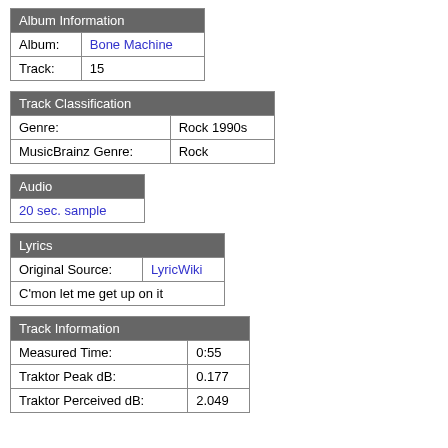| Album Information |
| --- |
| Album: | Bone Machine |
| Track: | 15 |
| Track Classification |
| --- |
| Genre: | Rock 1990s |
| MusicBrainz Genre: | Rock |
| Audio |
| --- |
| 20 sec. sample |
| Lyrics |
| --- |
| Original Source: | LyricWiki |
| C'mon let me get up on it |  |
| Track Information |
| --- |
| Measured Time: | 0:55 |
| Traktor Peak dB: | 0.177 |
| Traktor Perceived dB: | 2.049 |